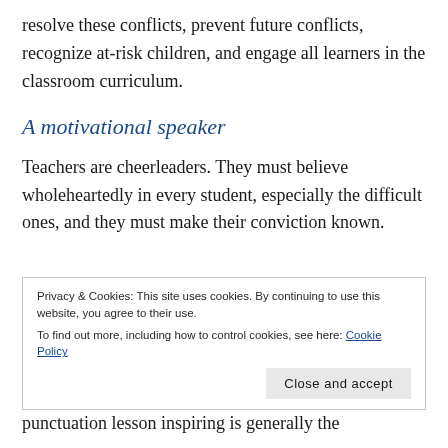resolve these conflicts, prevent future conflicts, recognize at-risk children, and engage all learners in the classroom curriculum.
A motivational speaker
Teachers are cheerleaders. They must believe wholeheartedly in every student, especially the difficult ones, and they must make their conviction known.
Privacy & Cookies: This site uses cookies. By continuing to use this website, you agree to their use. To find out more, including how to control cookies, see here: Cookie Policy
punctuation lesson inspiring is generally the